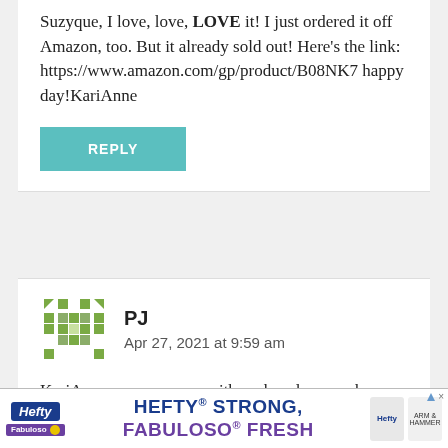Suzyque, I love, love, LOVE it! I just ordered it off Amazon, too. But it already sold out! Here's the link: https://www.amazon.com/gp/product/B08NK7... happy day!KariAnne
[Figure (other): Teal/turquoise REPLY button]
[Figure (other): Green pixel/mosaic style avatar for commenter PJ]
PJ
Apr 27, 2021 at 9:59 am
KariAnne, you came up with such a clever makeover and use for that magazine rack! Will you...
[Figure (other): Hefty HEFTY STRONG, FABULOSO FRESH advertisement banner at bottom of page]